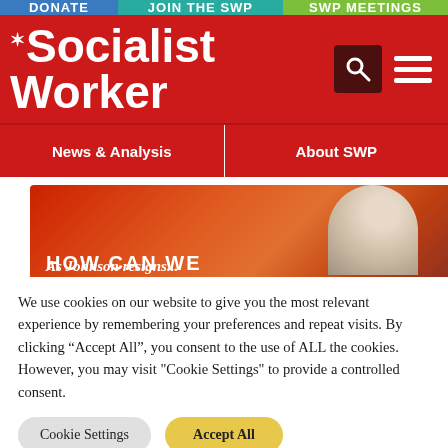DONATE | JOIN THE SWP | SWP MEETINGS
Socialist Worker
News & Analysis | About SWP
[Figure (photo): Promotional banner reading 'As Johnson resigns...' with a partial photo of an older man with white hair against a red-orange gradient background]
We use cookies on our website to give you the most relevant experience by remembering your preferences and repeat visits. By clicking "Accept All", you consent to the use of ALL the cookies. However, you may visit "Cookie Settings" to provide a controlled consent.
Cookie Settings | Accept All